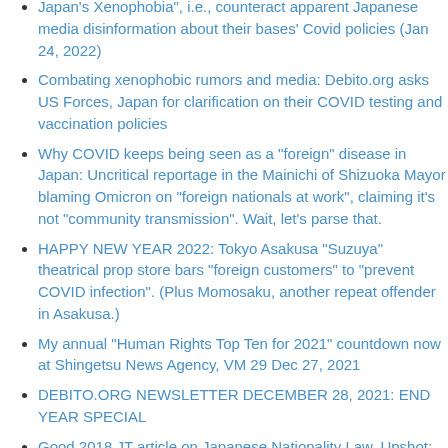Japan's Xenophobia", i.e., counteract apparent Japanese media disinformation about their bases' Covid policies (Jan 24, 2022)
Combating xenophobic rumors and media: Debito.org asks US Forces, Japan for clarification on their COVID testing and vaccination policies
Why COVID keeps being seen as a “foreign” disease in Japan: Uncritical reportage in the Mainichi of Shizuoka Mayor blaming Omicron on “foreign nationals at work”, claiming it’s not “community transmission”. Wait, let’s parse that.
HAPPY NEW YEAR 2022: Tokyo Asakusa “Suzuya” theatrical prop store bars “foreign customers” to “prevent COVID infection”. (Plus Momosaku, another repeat offender in Asakusa.)
My annual “Human Rights Top Ten for 2021” countdown now at Shingetsu News Agency, VM 29 Dec 27, 2021
DEBITO.ORG NEWSLETTER DECEMBER 28, 2021: END YEAR SPECIAL
Good 2018 JT article on Japanese Nationality Law. Upshot: Don’t give up NJ citizenship after naturalizing into Japan
Miyazaki International College cut their elderly professors’ salaries by 20%. After a 7-year battle, Fukuoka High Court